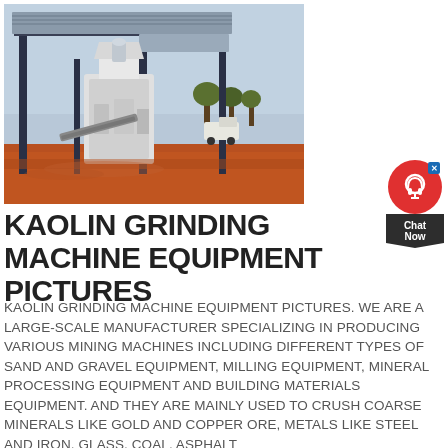[Figure (photo): Industrial kaolin grinding machine equipment installed under a metal frame shelter structure on red dirt ground, with blue sky and trees in background]
[Figure (other): Chat Now widget with red circle icon and dark chevron label]
KAOLIN GRINDING MACHINE EQUIPMENT PICTURES
KAOLIN GRINDING MACHINE EQUIPMENT PICTURES. WE ARE A LARGE-SCALE MANUFACTURER SPECIALIZING IN PRODUCING VARIOUS MINING MACHINES INCLUDING DIFFERENT TYPES OF SAND AND GRAVEL EQUIPMENT, MILLING EQUIPMENT, MINERAL PROCESSING EQUIPMENT AND BUILDING MATERIALS EQUIPMENT. AND THEY ARE MAINLY USED TO CRUSH COARSE MINERALS LIKE GOLD AND COPPER ORE, METALS LIKE STEEL AND IRON, GLASS, COAL, ASPHALT